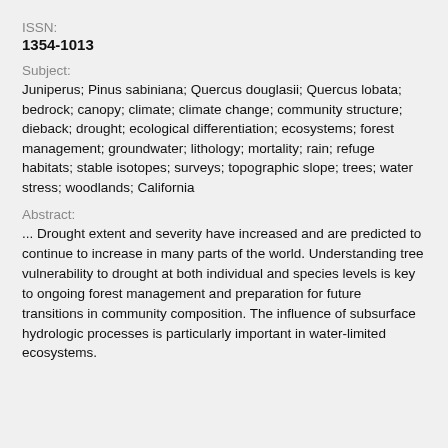ISSN:
1354-1013
Subject:
Juniperus; Pinus sabiniana; Quercus douglasii; Quercus lobata; bedrock; canopy; climate; climate change; community structure; dieback; drought; ecological differentiation; ecosystems; forest management; groundwater; lithology; mortality; rain; refuge habitats; stable isotopes; surveys; topographic slope; trees; water stress; woodlands; California
Abstract:
... Drought extent and severity have increased and are predicted to continue to increase in many parts of the world. Understanding tree vulnerability to drought at both individual and species levels is key to ongoing forest management and preparation for future transitions in community composition. The influence of subsurface hydrologic processes is particularly important in water-limited ecosystems.